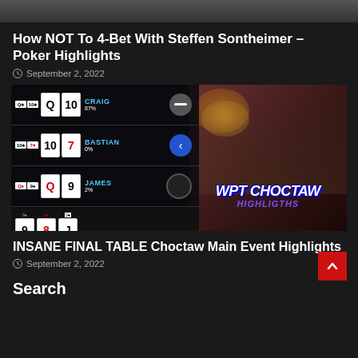[Figure (photo): Partial top image, cropped at top of page]
How NOT To 4-Bet With Steffen Sontheimer – Poker Highlights
September 2, 2022
[Figure (screenshot): WPT Choctaw poker tournament highlights thumbnail showing poker table with player cards (CRAIG 87%, BASTIAN 0%, JAMES 2%), board cards 9-8-J, POT 1,600,000, and smiling man with WPT CHOCTAW HIGHLIGHTS text]
INSANE FINAL TABLE Choctaw Main Event Highlights
September 2, 2022
Search